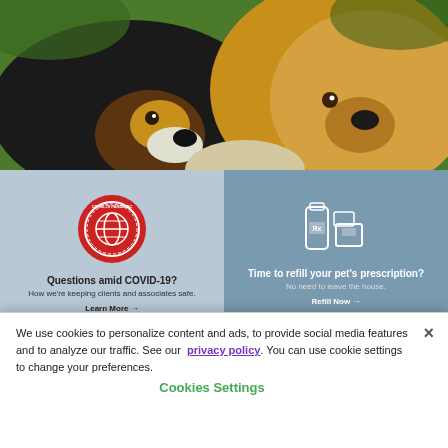[Figure (photo): Two dogs close together — a Bernese mountain dog on the left and a golden/light-colored dog on the right, outdoors with green background]
[Figure (infographic): COVID-19 pandemic red circular badge with globe icon]
Questions amid COVID-19?
How we're keeping clients and associates safe.
Learn More →
[Figure (illustration): White icons of medicine bottles and prescription packages]
Time to refill your pet's prescription?
No need to leave the house.
Refill Now →
[Figure (illustration): myPCA app on smartphone screen illustration]
[Figure (illustration): myPCA pet care products and services icons illustration]
We use cookies to personalize content and ads, to provide social media features and to analyze our traffic. See our privacy policy. You can use cookie settings to change your preferences.
Cookies Settings